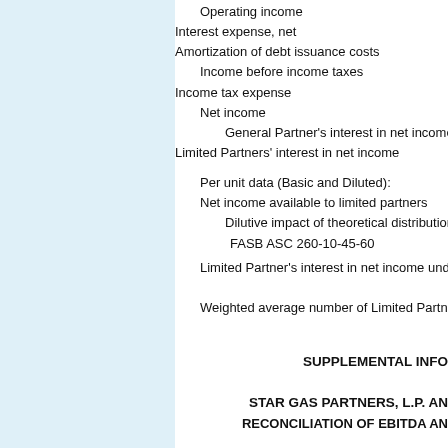Operating income
Interest expense, net
Amortization of debt issuance costs
Income before income taxes
Income tax expense
Net income
General Partner's interest in net income
Limited Partners' interest in net income
Per unit data (Basic and Diluted):
Net income available to limited partners
Dilutive impact of theoretical distribution of earnings under FASB ASC 260-10-45-60
Limited Partner's interest in net income under
Weighted average number of Limited Partner u
SUPPLEMENTAL INFO
STAR GAS PARTNERS, L.P. AN
RECONCILIATION OF EBITDA AN